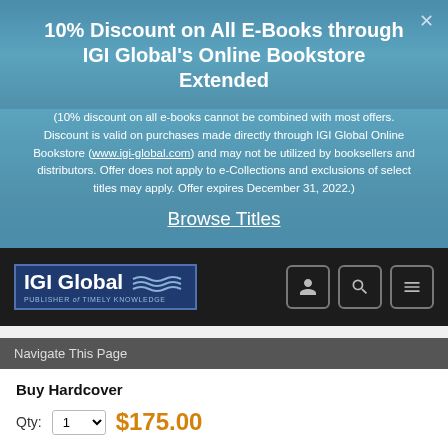10% Discount on All E-Books through IGI Global's Online Bookstore Extended
(10% discount on all e-books cannot be combined with most offers. Discount is valid on purchases made directly through IGI Global Online Bookstore (www.igi-global.com) and may not be utilized by booksellers and distributors. Offer does not apply to e-Collections and exclusions of select titles may apply. Offer expires December 31, 2022.)
Browse Titles
[Figure (logo): IGI Global Publisher of Timely Knowledge logo on dark navbar with user, search, and menu icons]
Navigate This Page
Buy Hardcover
Qty: 1  $175.00
Add to Cart